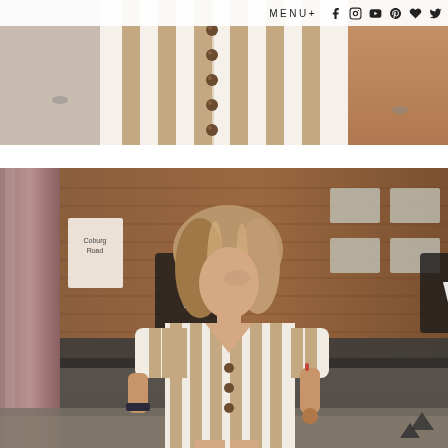[Figure (photo): Close-up fashion photo showing lower half of person wearing white and tan striped button-front dress, warm toned outdoor background]
MENU+ [social media icons: Facebook, Instagram, YouTube, Pinterest, Heart, Twitter]
[Figure (photo): Fashion street photography of a young woman with long highlighted hair wearing a white and tan striped short-sleeve button-front dress, standing on a city street with brick buildings and shop signs in the background, London street scene]